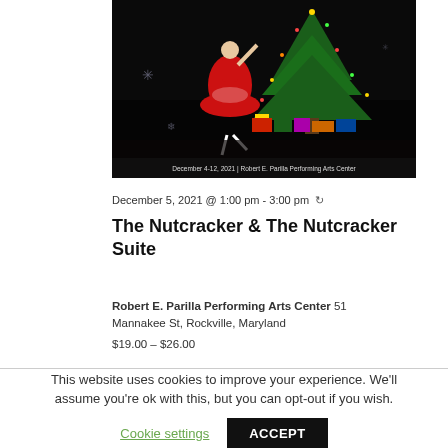[Figure (photo): A ballet dancer in a red dress performs on stage in front of a decorated Christmas tree with gifts. The image caption reads: December 4-12, 2021 | Robert E. Parilla Performing Arts Center]
December 5, 2021 @ 1:00 pm - 3:00 pm ↻
The Nutcracker & The Nutcracker Suite
Robert E. Parilla Performing Arts Center 51 Mannakee St, Rockville, Maryland
$19.00 – $26.00
This website uses cookies to improve your experience. We'll assume you're ok with this, but you can opt-out if you wish.
Cookie settings   ACCEPT